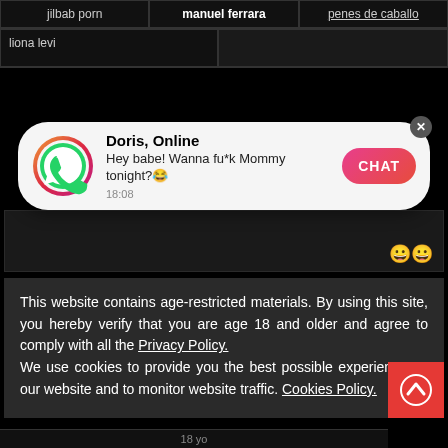jilbab porn | manuel ferrara | penes de caballo
liona levi
[Figure (screenshot): WhatsApp-style notification popup. Green WhatsApp phone icon with pink/red gradient ring. Text: 'Doris, Online — Hey babe! Wanna fu*k Mommy tonight? 18:08'. Pink-red CHAT button on right. Grey X close button top-right.]
This website contains age-restricted materials. By using this site, you hereby verify that you are age 18 and older and agree to comply with all the Privacy Policy. We use cookies to provide you the best possible experience on our website and to monitor website traffic. Cookies Policy.